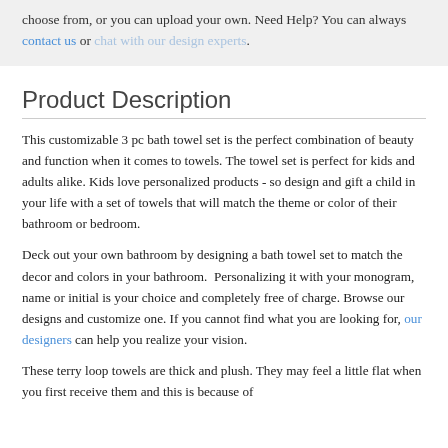choose from, or you can upload your own. Need Help? You can always contact us or chat with our design experts.
Product Description
This customizable 3 pc bath towel set is the perfect combination of beauty and function when it comes to towels. The towel set is perfect for kids and adults alike. Kids love personalized products - so design and gift a child in your life with a set of towels that will match the theme or color of their bathroom or bedroom.
Deck out your own bathroom by designing a bath towel set to match the decor and colors in your bathroom.  Personalizing it with your monogram, name or initial is your choice and completely free of charge. Browse our designs and customize one. If you cannot find what you are looking for, our designers can help you realize your vision.
These terry loop towels are thick and plush. They may feel a little flat when you first receive them and this is because of